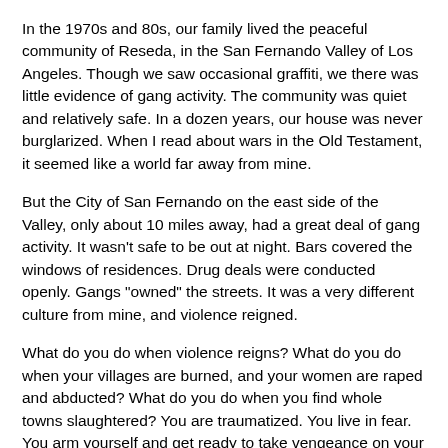In the 1970s and 80s, our family lived the peaceful community of Reseda, in the San Fernando Valley of Los Angeles. Though we saw occasional graffiti, we there was little evidence of gang activity. The community was quiet and relatively safe. In a dozen years, our house was never burglarized. When I read about wars in the Old Testament, it seemed like a world far away from mine.
But the City of San Fernando on the east side of the Valley, only about 10 miles away, had a great deal of gang activity. It wasn't safe to be out at night. Bars covered the windows of residences. Drug deals were conducted openly. Gangs "owned" the streets. It was a very different culture from mine, and violence reigned.
What do you do when violence reigns? What do you do when your villages are burned, and your women are raped and abducted? What do you do when you find whole towns slaughtered? You are traumatized. You live in fear. You arm yourself and get ready to take vengeance on your enemies.
In Los Angeles gang culture, when someone from a gang is attacked, it is considered an attack on the whole gang (solidarity, and all that). The gang then goes out to fight for its honor. The most fearless fighters become feared leaders. The Warrior, rather than the Politician, is the most respected role model. Wars are conducted out of offense and pride as well as defense and self-preservation. If you don't defend your territory or